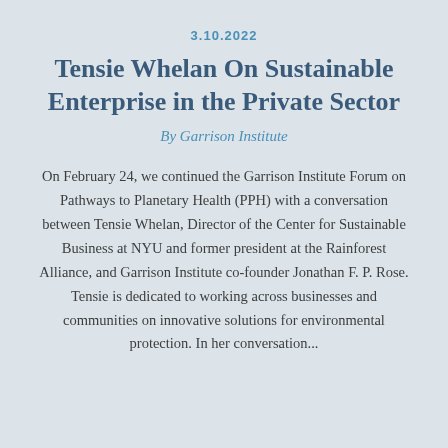3.10.2022
Tensie Whelan On Sustainable Enterprise in the Private Sector
By Garrison Institute
On February 24, we continued the Garrison Institute Forum on Pathways to Planetary Health (PPH) with a conversation between Tensie Whelan, Director of the Center for Sustainable Business at NYU and former president at the Rainforest Alliance, and Garrison Institute co-founder Jonathan F. P. Rose. Tensie is dedicated to working across businesses and communities on innovative solutions for environmental protection. In her conversation...